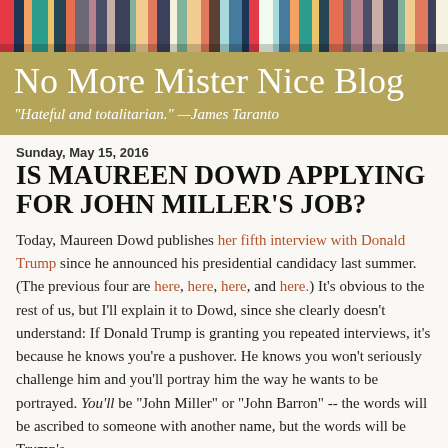[Figure (photo): Colorful book spines on a shelf, serving as decorative header image for the blog]
No More Mister Nice Blog
"Hateful and totalitarian." —James Taranto
Sunday, May 15, 2016
IS MAUREEN DOWD APPLYING FOR JOHN MILLER'S JOB?
Today, Maureen Dowd publishes her fifth interview with Donald Trump since he announced his presidential candidacy last summer. (The previous four are here, here, here, and here.) It's obvious to the rest of us, but I'll explain it to Dowd, since she clearly doesn't understand: If Donald Trump is granting you repeated interviews, it's because he knows you're a pushover. He knows you won't seriously challenge him and you'll portray him the way he wants to be portrayed. You'll be "John Miller" or "John Barron" -- the words will be ascribed to someone with another name, but the words will be Trump's.